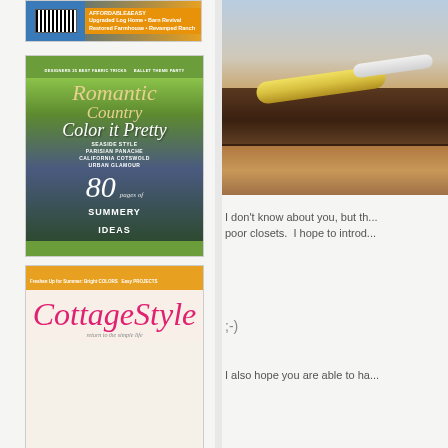[Figure (photo): Top strip: magazine cover showing affordable home styles - Upgraded Log Home, Barn Revival, Restored Farmhouse, Revamped Ranch]
[Figure (photo): Romantic Country magazine cover featuring 'Color it Pretty' with summery ideas, seaside style, Parisian panache, California Cotswold, Urban Glamour - 80 pages of summery ideas]
[Figure (photo): Cottage Style magazine cover with 'return to the simple life' tagline, Freshen Up for Summer with Bright Colors and Easy Projects]
[Figure (photo): Close-up photo of wooden rolling pins and wooden surfaces in dark and light brown tones]
I don't know about you, but th... poor closets.  I hope to introd...
;-)
I also hope you are able to ha...